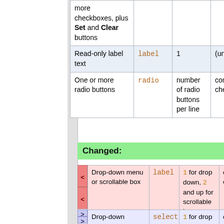| Description | Type | Size | Notes |
| --- | --- | --- | --- |
| more checkboxes, plus Set and Clear buttons |  |  |  |
| Read-only label text | label | 1 | (unu… |
| One or more radio buttons | radio | number of radio buttons per line | comm… list o che… labe… |
Changed:
|  | Description | Type | Size | Notes |
| --- | --- | --- | --- | --- |
| < | Drop-down menu or scrollable box | label | 1 for drop down, 2 and up for scrollable box | comm… of opt… |
| > | Drop-down | select | 1 for drop down, | comm… |